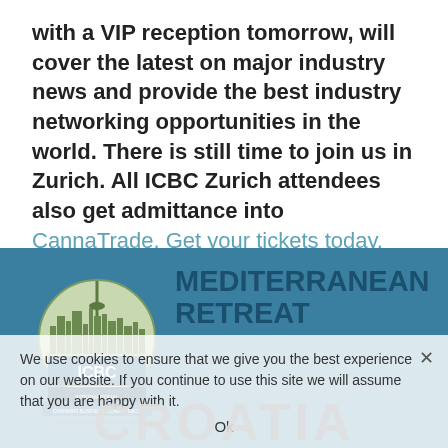with a VIP reception tomorrow, will cover the latest on major industry news and provide the best industry networking opportunities in the world. There is still time to join us in Zurich. All ICBC Zurich attendees also get admittance into CannaTrade. Get your tickets today.
Always Pure Organics, Gavin Ogilvie, Pure
< Previous   Next >
[Figure (logo): ICBC International Cannabis Business Conference logo with city skyline and globe]
MEDITERRANEAN RETREAT
We use cookies to ensure that we give you the best experience on our website. If you continue to use this site we will assume that you are happy with it. Ok
CROATIA